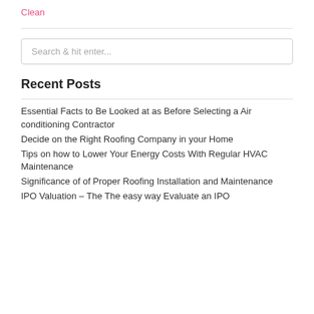Clean
Search & hit enter...
Recent Posts
Essential Facts to Be Looked at as Before Selecting a Air conditioning Contractor
Decide on the Right Roofing Company in your Home
Tips on how to Lower Your Energy Costs With Regular HVAC Maintenance
Significance of of Proper Roofing Installation and Maintenance
IPO Valuation – The The easy way Evaluate an IPO